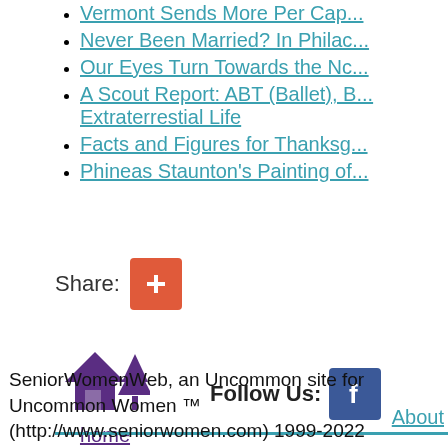Vermont Sends More Per Capita...
Never Been Married? In Phila...
Our Eyes Turn Towards the No...
A Scout Report: ABT (Ballet), Extraterrestial Life
Facts and Figures for Thanksg...
Phineas Staunton's Painting of...
[Figure (other): Share button with red/orange plus icon]
[Figure (other): Home icon with house and tree in purple, labeled 'home']
[Figure (other): Follow Us label with Facebook icon button]
About
SeniorWomenWeb, an Uncommon site for Uncommon Women ™ (http://www.seniorwomen.com) 1999-2022